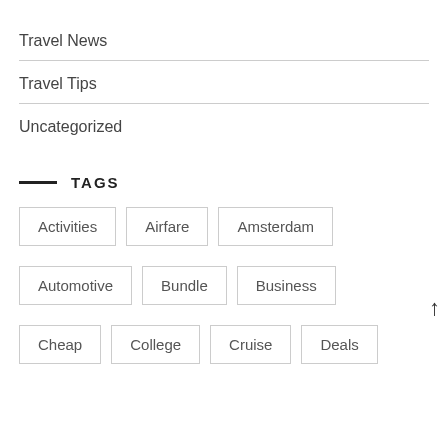Travel News
Travel Tips
Uncategorized
TAGS
Activities
Airfare
Amsterdam
Automotive
Bundle
Business
Cheap
College
Cruise
Deals